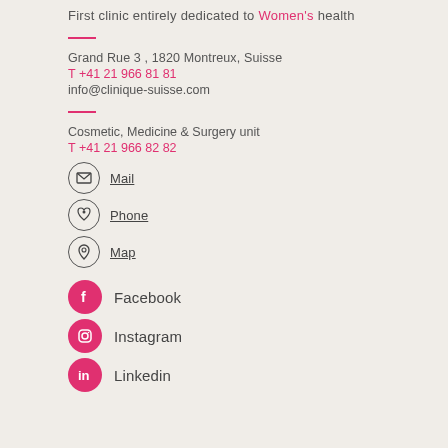First clinic entirely dedicated to Women's health
Grand Rue 3 , 1820 Montreux, Suisse
T +41 21 966 81 81
info@clinique-suisse.com
Cosmetic, Medicine & Surgery unit
T +41 21 966 82 82
Mail
Phone
Map
Facebook
Instagram
Linkedin